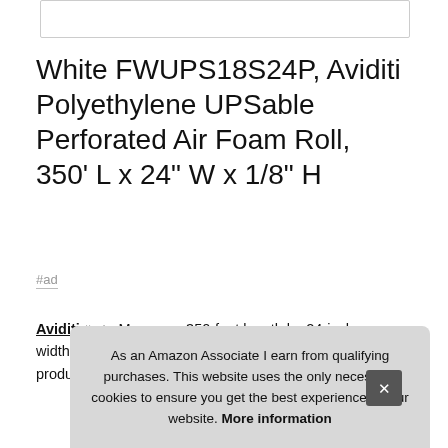[Figure (screenshot): White rectangular search bar input box at top of page]
White FWUPS18S24P, Aviditi Polyethylene UPSable Perforated Air Foam Roll, 350' L x 24" W x 1/8" H
#ad
Aviditi #ad - Measures 350-feet length by 24-inches width by 1/8-inches height. Foam absorbs shocks. Keeps products clea... for e...
As an Amazon Associate I earn from qualifying purchases. This website uses the only necessary cookies to ensure you get the best experience on our website. More information